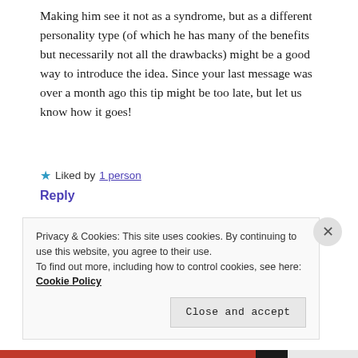Making him see it not as a syndrome, but as a different personality type (of which he has many of the benefits but necessarily not all the drawbacks) might be a good way to introduce the idea. Since your last message was over a month ago this tip might be too late, but let us know how it goes!
★ Liked by 1 person
Reply
carpatia
Privacy & Cookies: This site uses cookies. By continuing to use this website, you agree to their use. To find out more, including how to control cookies, see here: Cookie Policy
Close and accept